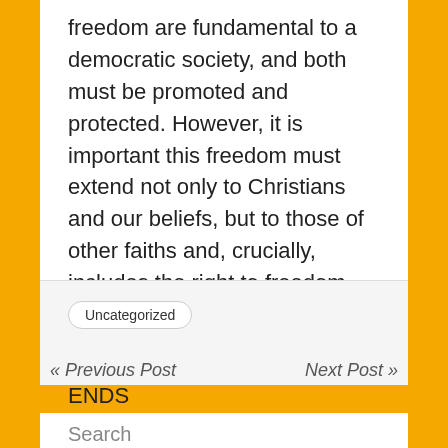freedom are fundamental to a democratic society, and both must be promoted and protected. However, it is important this freedom must extend not only to Christians and our beliefs, but to those of other faiths and, crucially, includes the right to freedom from religion for those who are not believers.”
ENDS
Uncategorized
« Previous Post
Next Post »
Search